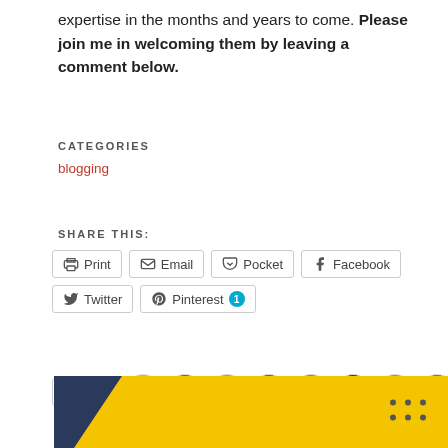expertise in the months and years to come. Please join me in welcoming them by leaving a comment below.
CATEGORIES
blogging
SHARE THIS:
[Figure (other): Share buttons: Print, Email, Pocket, Facebook, Twitter, Pinterest 1]
[Figure (other): Like button and 10 blogger avatars, 20 bloggers like this.]
RELATED
[Figure (other): Partial related article thumbnail with yellow background and dark triangle]